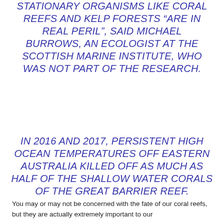STATIONARY ORGANISMS LIKE CORAL REEFS AND KELP FORESTS “ARE IN REAL PERIL”, SAID MICHAEL BURROWS, AN ECOLOGIST AT THE SCOTTISH MARINE INSTITUTE, WHO WAS NOT PART OF THE RESEARCH.
IN 2016 AND 2017, PERSISTENT HIGH OCEAN TEMPERATURES OFF EASTERN AUSTRALIA KILLED OFF AS MUCH AS HALF OF THE SHALLOW WATER CORALS OF THE GREAT BARRIER REEF.
You may or may not be concerned with the fate of our coral reefs, but they are actually extremely important to our